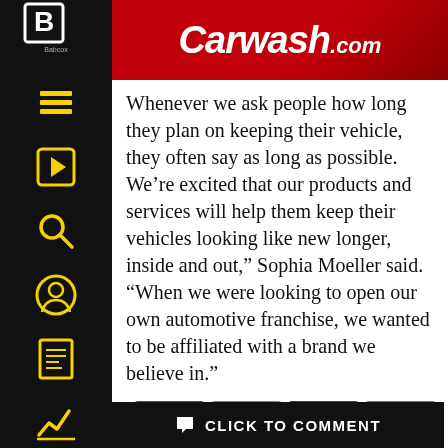Carwash.com
Whenever we ask people how long they plan on keeping their vehicle, they often say as long as possible. We’re excited that our products and services will help them keep their vehicles looking like new longer, inside and out,” Sophia Moeller said. “When we were looking to open our own automotive franchise, we wanted to be affiliated with a brand we believe in.”
[Figure (infographic): Social share buttons: Facebook, Twitter, Pinterest, Email]
In this article: expansion
CLICK TO COMMENT